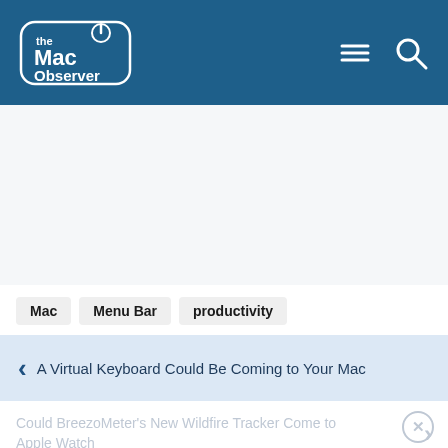The Mac Observer
[Figure (screenshot): White/light gray empty content area (advertisement or image placeholder)]
Mac
Menu Bar
productivity
< A Virtual Keyboard Could Be Coming to Your Mac
Could BreezoMeter's New Wildfire Tracker Come to Apple Watch